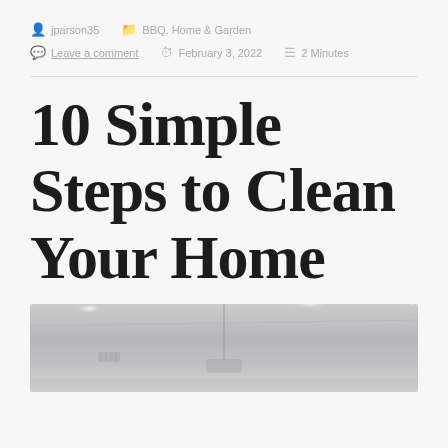jparson35  BBQ, Home & Garden  Leave a comment  February 3, 2022  2 Minutes
10 Simple Steps to Clean Your Home
[Figure (photo): Interior room photo showing a clean home with recessed ceiling lights and what appears to be a kitchen/dining area.]